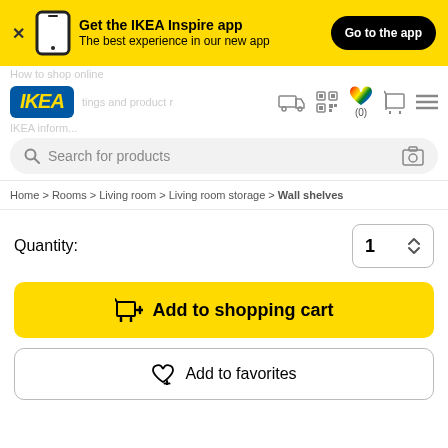[Figure (screenshot): IKEA app promotional banner with yellow background, phone icon, text 'Get the IKEA Inspire app - The best experience in our new app' and a black 'Go to the app' button]
[Figure (logo): IKEA logo in blue rounded rectangle with yellow italic text]
Search for products
Home > Rooms > Living room > Living room storage > Wall shelves
Quantity:
1
Add to shopping cart
Add to favorites